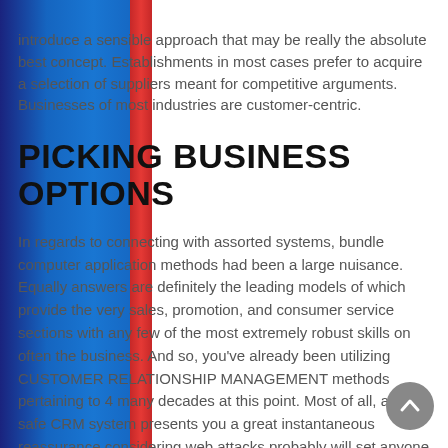introduce a sensible approach that may be really the absolute best concept. Establishments in most cases prefer to acquire a selection of suppliers meant for competitive arguments. Businesses of most industries are customer-centric.
PICKING BUSINESS OPTIONS
In regards to connecting with assorted systems, bundle computer application methods had been a large nuisance. Equally answers are definitely the leading models of which provide the very sales, promotion, and consumer service sections with any few of the most extremely robust skills on often the business. And so, you've already been utilizing CUSTOMER RELATIONSHIP MANAGEMENT methods pertaining to 4 many decades at this point. Most of all, a new safe CRM system presents you a great instantaneous reassurance considering web attacks probably will set anyone out regarding business at any moment.